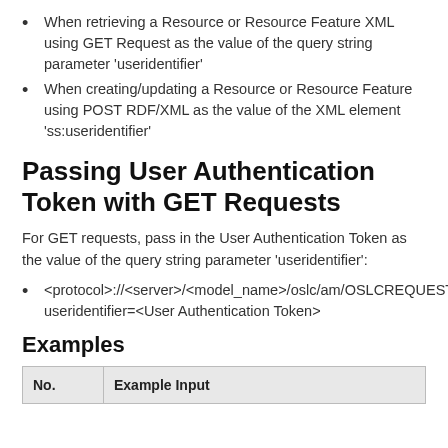When retrieving a Resource or Resource Feature XML using GET Request as the value of the query string parameter 'useridentifier'
When creating/updating a Resource or Resource Feature using POST RDF/XML as the value of the XML element 'ss:useridentifier'
Passing User Authentication Token with GET Requests
For GET requests, pass in the User Authentication Token as the value of the query string parameter 'useridentifier':
<protocol>://<server>/<model_name>/oslc/am/OSLCREQUEST/?useridentifier=<User Authentication Token>
Examples
| No. | Example Input |
| --- | --- |